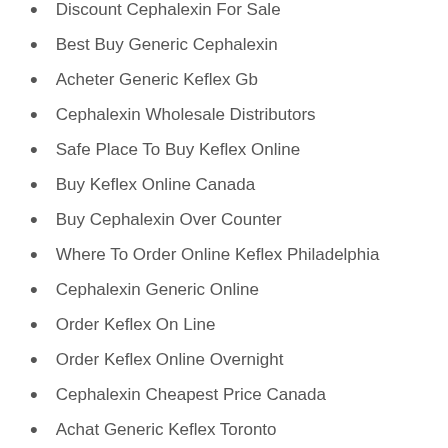Discount Cephalexin For Sale
Best Buy Generic Cephalexin
Acheter Generic Keflex Gb
Cephalexin Wholesale Distributors
Safe Place To Buy Keflex Online
Buy Keflex Online Canada
Buy Cephalexin Over Counter
Where To Order Online Keflex Philadelphia
Cephalexin Generic Online
Order Keflex On Line
Order Keflex Online Overnight
Cephalexin Cheapest Price Canada
Achat Generic Keflex Toronto
Generic Cephalexin Buy Cheap Generic Cephalexin
Buy Cheap Keflex No Prescription
Acheter Generic Keflex Us
Buy Generic Keflex Japan